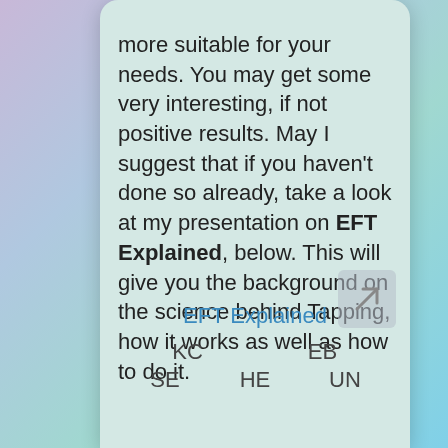more suitable for your needs. You may get some very interesting, if not positive results. May I suggest that if you haven't done so already, take a look at my presentation on EFT Explained, below.  This will give you the background on the science behind Tapping, how it works as well as how to do it.
EFT Explained
KC   EB
SE   HE   UN